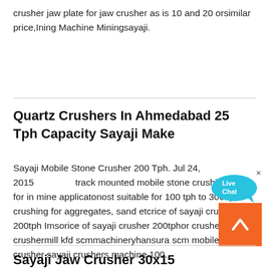crusher jaw plate for jaw crusher as is 10 and 20 orsimilar price,Ining Machine Miningsayaji.
Quartz Crushers In Ahmedabad 25 Tph Capacity Sayaji Make
Sayaji Mobile Stone Crusher 200 Tph. Jul 24, 2015 track mounted mobile stone crushing plant for in mine applicatonost suitable for 100 tph to 300 tph crushing for aggregates, sand etcrice of sayaji crusher 200tph Imsorice of sayaji crusher 200tphor crushers india crushermill kfd scmmachineryhansura scm mobile stone crusher sayaji crushers machine 100.
[Figure (other): Live Chat bubble icon in cyan/blue]
[Figure (other): Orange back-to-top button with upward chevron arrow]
Sayaji Jaw Crusher 30x15